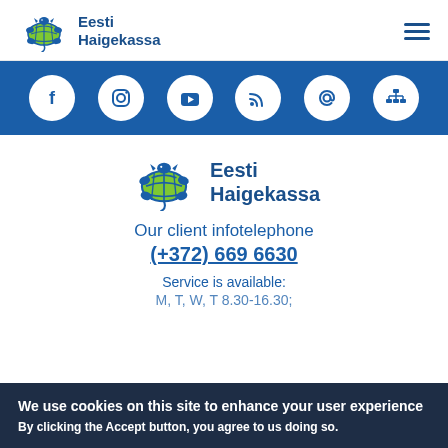[Figure (logo): Eesti Haigekassa turtle logo with text 'Eesti Haigekassa' in header]
[Figure (infographic): Blue social media bar with 6 circular white icons: Facebook, Instagram, YouTube, RSS feed, email (@), and sitemap/network]
[Figure (logo): Larger Eesti Haigekassa turtle logo with text 'Eesti Haigekassa' in body]
Our client infotelephone
(+372) 669 6630
Service is available:
M, T, W, T 8.30-16.30;
We use cookies on this site to enhance your user experience
By clicking the Accept button, you agree to us doing so.